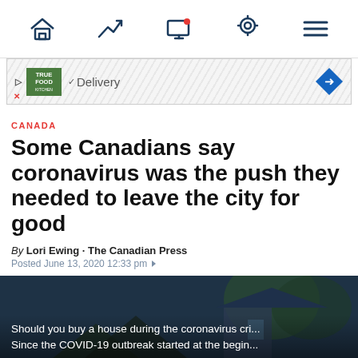Navigation bar with home, trending, screen, location, and menu icons
[Figure (screenshot): Advertisement banner for True Food Kitchen showing delivery option with blue diamond arrow]
CANADA
Some Canadians say coronavirus was the push they needed to leave the city for good
By Lori Ewing · The Canadian Press
Posted June 13, 2020 12:33 pm
[Figure (photo): Dark photo of a house with overlay text: Should you buy a house during the coronavirus cri... Since the COVID-19 outbreak started at the begin...]